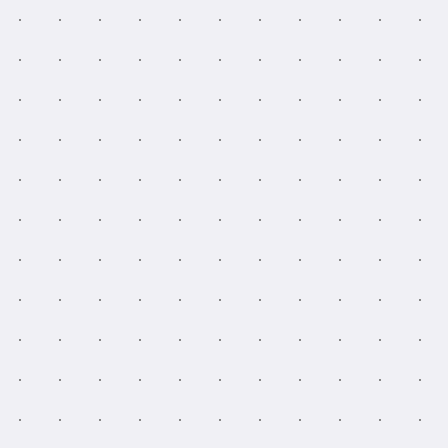[Figure (other): Light gray background with scattered small dark dots pattern, left panel of a two-column layout]
Magic Idol - 455.3 bt
Shaaark Superbet -
Bars 7s - 481.1 usdt
Cricket Star - 132.6 e
Ancient Riches Casin
Fruit vs Candy - 604.
7 Lucky Dwarfs - 191
Nordic Song - 314 bt

Play Bitcoin Slots an
CryptoGames The P
King Billy Casino Psy
Diamond Reels Casi
Bitcasino.io King Ch
Playamo Casino For
Cloudbet Casino Luc
Vegas Crest Casino
Bitcoin Penguin Casi
FortuneJack Casino
BitcoinCasino.us Wi
Betcoin.ag Casino T